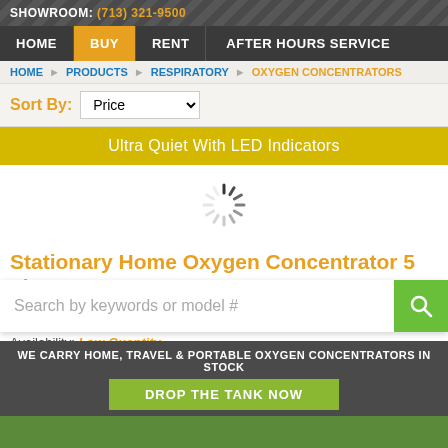SHOWROOM: (713) 321-9500
HOME | BUY | RENT | AFTER HOURS SERVICE
HOME > PRODUCTS > RESPIRATORY > OXYGEN CONCENTRATORS
Sort By: Price
Ultra Quiet With LED Indicators
[Figure (other): Loading spinner animation icon]
Stationary Home Oxygen Concentrator 5 Liter
By: 3B Medical Inc
Model #: Stratus5
Availability: Low Quantity
Price: $1,199.99
MSRP: $1,677.79
Search by keywords or model #
WE CARRY HOME, TRAVEL & PORTABLE OXYGEN CONCENTRATORS IN STOCK
DROP THE TANK NOW